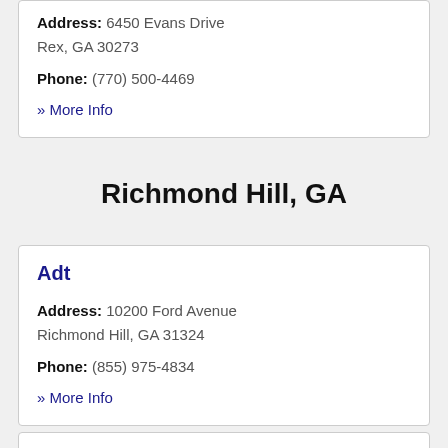Address: 6450 Evans Drive Rex, GA 30273
Phone: (770) 500-4469
» More Info
Richmond Hill, GA
Adt
Address: 10200 Ford Avenue Richmond Hill, GA 31324
Phone: (855) 975-4834
» More Info